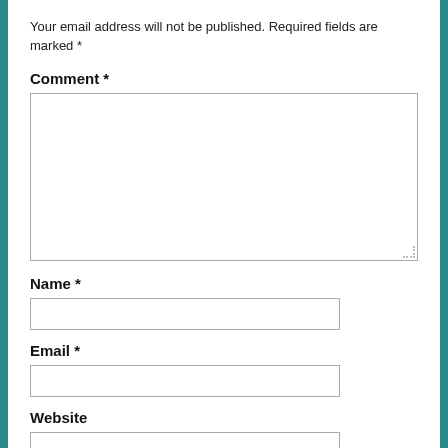Your email address will not be published. Required fields are marked *
Comment *
[Figure (other): Large empty textarea input box for comment entry with resize handle]
Name *
[Figure (other): Single-line text input box for name]
Email *
[Figure (other): Single-line text input box for email]
Website
[Figure (other): Single-line text input box for website]